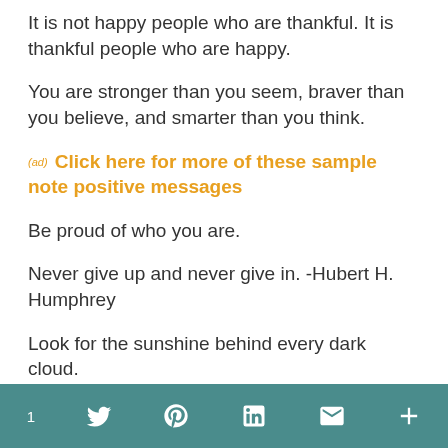It is not happy people who are thankful. It is thankful people who are happy.
You are stronger than you seem, braver than you believe, and smarter than you think.
(ad) Click here for more of these sample note positive messages
Be proud of who you are.
Never give up and never give in. -Hubert H. Humphrey
Look for the sunshine behind every dark cloud.
Facebook 1  Twitter  Pinterest  LinkedIn  Email  More